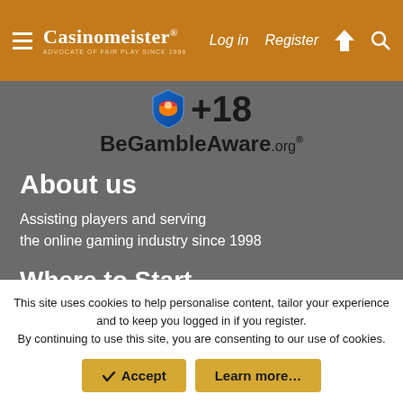Casinomeister® — Advocate of Fair Play since 1998 | Log in | Register
[Figure (logo): Shield with +18 symbol and BeGambleAware.org logo]
About us
Assisting players and serving the online gaming industry since 1998
Where to Start
Accredited Online Casino Reviews
Online Casino Player Tips
10 Myths online Gambling
Our Philosophy
This site uses cookies to help personalise content, tailor your experience and to keep you logged in if you register. By continuing to use this site, you are consenting to our use of cookies.